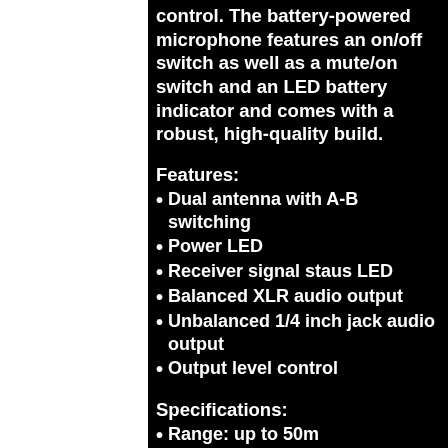control. The battery-powered microphone features an on/off switch as well as a mute/on switch and an LED battery indicator and comes with a robust, high-quality build.
Features:
Dual antenna with A-B switching
Power LED
Receiver signal staus LED
Balanced XLR audio output
Unbalanced 1/4 inch jack audio output
Output level control
Specifications:
Range: up to 50m